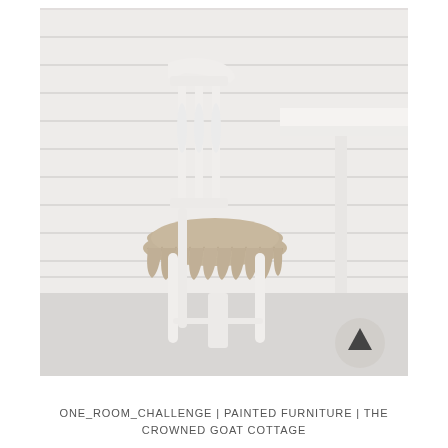[Figure (photo): A white painted wooden chair with a taupe/beige ruffled fabric seat cushion, positioned next to a white table, against a white shiplap wall background with a light gray floor. Farmhouse/cottage style decor. A circular scroll-to-top button is visible in the lower right corner of the image.]
ONE_ROOM_CHALLENGE | PAINTED FURNITURE | THE CROWNED GOAT COTTAGE